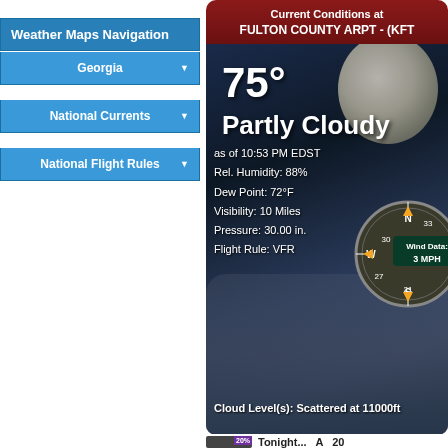Weather Maps Navigation
Georgia
National Currents
National Flight Rules
[Figure (screenshot): Weather conditions widget showing night sky with moon and clouds background. Displays current conditions at FULTON COUNTY ARPT - (KFT...). Temperature: 75°, Partly Cloudy, as of 10:53 PM EDST. Rel. Humidity: 88%, Dew Point: 72°F, Visibility: 10 Miles, Pressure: 30.00 in., Flight Rule: VFR. Wind Data: 3 MPH. Cloud Level(s): Scattered at 11000ft. Compass rose visible on right side.]
Tonight... A 20%